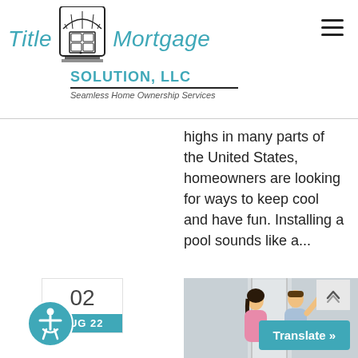Title Mortgage Solution, LLC — Seamless Home Ownership Services
Should I Get a Pool? Pros and Cons
As summer temperatures reach record highs in many parts of the United States, homeowners are looking for ways to keep cool and have fun. Installing a pool sounds like a...
read more
02 AUG 22
[Figure (photo): Happy couple holding house keys, smiling, standing in front of a door]
Translate »